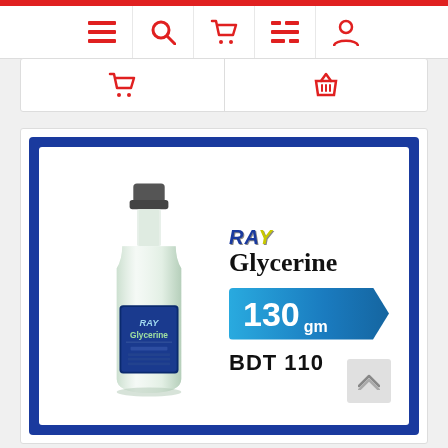Navigation bar with menu, search, cart, list, and user icons
[Figure (screenshot): E-commerce website screenshot showing navigation icons (menu, search, cart, filter, user) in top nav, and sub-nav with cart and basket icons below]
[Figure (photo): RAY Glycerine product bottle - clear glass bottle with dark cap and blue label, 130 gm, BDT 110 price shown alongside product image on blue-framed white card]
RAY Glycerine 130 gm BDT 110